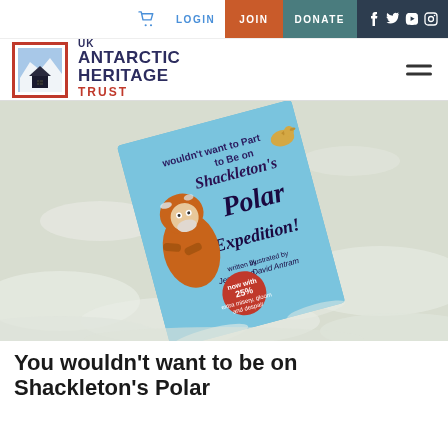LOGIN | JOIN | DONATE | [social icons]
[Figure (logo): UK Antarctic Heritage Trust logo with red-bordered box containing mountain/hut scene and text UK ANTARCTIC HERITAGE TRUST]
[Figure (photo): Book cover 'You Wouldn't Want to Be on Shackleton's Polar Expedition!' by Jen Green, illustrated by David Antram, lying in snow. Blue cover with cartoon explorer in orange parka. Red sticker with '25% extra misery, gloom and despair'.]
You wouldn't want to be on Shackleton's Polar